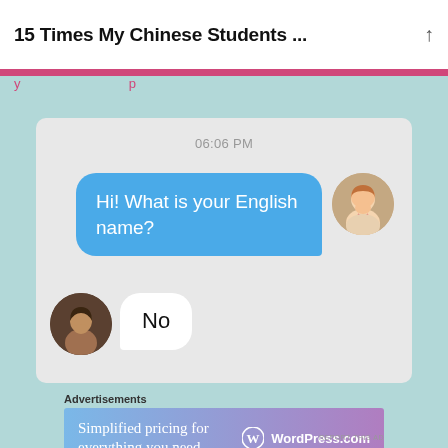15 Times My Chinese Students ...
y...p
[Figure (screenshot): A chat message screenshot with timestamp 06:06 PM. A blue speech bubble from a smiling girl avatar reads: Hi! What is your English name? A white speech bubble from another avatar replies: No]
Advertisements
[Figure (infographic): WordPress.com advertisement banner: Simplified pricing for everything you need. WordPress.com]